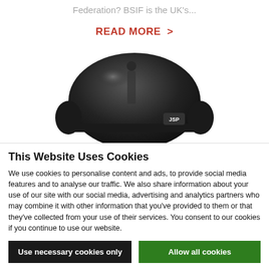Federation? BSIF is the UK's...
READ MORE >
[Figure (photo): Black safety helmet/hard hat with JSP logo, shown from front-top angle against white background]
This Website Uses Cookies
We use cookies to personalise content and ads, to provide social media features and to analyse our traffic. We also share information about your use of our site with our social media, advertising and analytics partners who may combine it with other information that you've provided to them or that they've collected from your use of their services. You consent to our cookies if you continue to use our website.
Use necessary cookies only
Allow all cookies
Show details